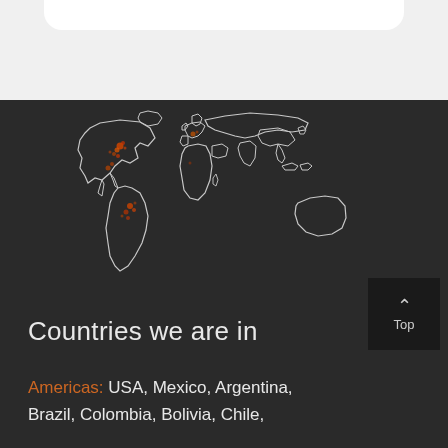[Figure (map): World map outline on dark background with orange/red heat spots concentrated in North and South America (mainly USA and Brazil), rendered as glowing white outlines of continents with orange data points showing geographic distribution]
Countries we are in
Americas: USA, Mexico, Argentina, Brazil, Colombia, Bolivia, Chile,